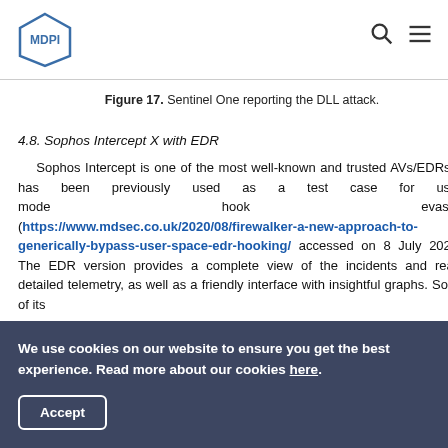MDPI
Figure 17. Sentinel One reporting the DLL attack.
4.8. Sophos Intercept X with EDR
Sophos Intercept is one of the most well-known and trusted AVs/EDRs. It has been previously used as a test case for user-mode hook evasion (https://www.mdsec.co.uk/2020/08/firewalker-a-new-approach-to-generically-bypass-user-space-edr-hooking/ accessed on 8 July 2021). The EDR version provides a complete view of the incidents and really detailed telemetry, as well as a friendly interface with insightful graphs. Some of its
We use cookies on our website to ensure you get the best experience. Read more about our cookies here. Accept